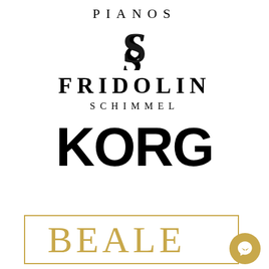PIANOS
[Figure (logo): Schimmel decorative S letter logo in blackletter/gothic style]
FRIDOLIN
SCHIMMEL
KORG
[Figure (logo): BEALE brand logo in gold/tan color inside a gold rectangular border, partially visible at bottom of page]
[Figure (other): Facebook Messenger badge/icon in gold circle at bottom right]